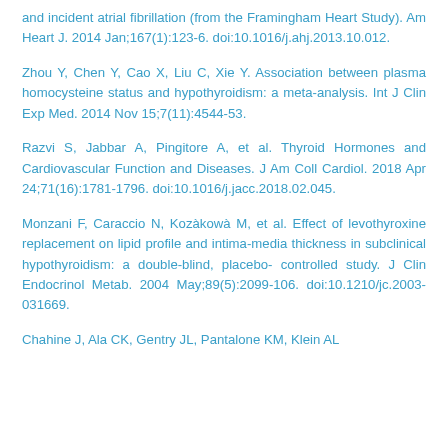and incident atrial fibrillation (from the Framingham Heart Study). Am Heart J. 2014 Jan;167(1):123-6. doi:10.1016/j.ahj.2013.10.012.
Zhou Y, Chen Y, Cao X, Liu C, Xie Y. Association between plasma homocysteine status and hypothyroidism: a meta-analysis. Int J Clin Exp Med. 2014 Nov 15;7(11):4544-53.
Razvi S, Jabbar A, Pingitore A, et al. Thyroid Hormones and Cardiovascular Function and Diseases. J Am Coll Cardiol. 2018 Apr 24;71(16):1781-1796. doi:10.1016/j.jacc.2018.02.045.
Monzani F, Caraccio N, Kozàkowà M, et al. Effect of levothyroxine replacement on lipid profile and intima-media thickness in subclinical hypothyroidism: a double-blind, placebo- controlled study. J Clin Endocrinol Metab. 2004 May;89(5):2099-106. doi:10.1210/jc.2003-031669.
Chahine J, Ala CK, Gentry JL, Pantalone KM, Klein AL